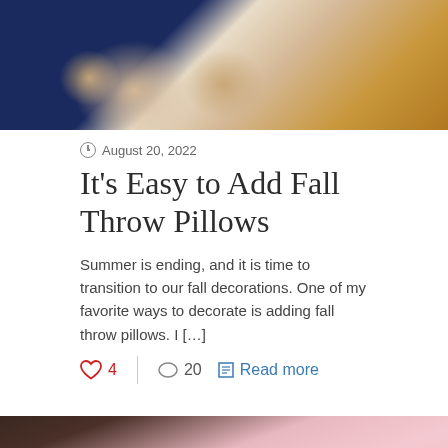[Figure (photo): Top banner photo showing a white pillow with pumpkin illustrations on a navy blue background next to a golden-brown ceramic vase]
August 20, 2022
It's Easy to Add Fall Throw Pillows
Summer is ending, and it is time to transition to our fall decorations. One of my favorite ways to decorate is adding fall throw pillows. I […]
4   20   Read more
[Figure (photo): Bottom photo showing a lush arrangement of pink roses and flowers with candles in a dark setting, with a reCAPTCHA badge in the bottom right corner]